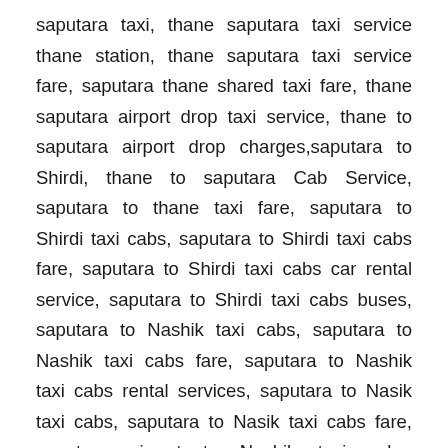saputara taxi, thane saputara taxi service thane station, thane saputara taxi service fare, saputara thane shared taxi fare, thane saputara airport drop taxi service, thane to saputara airport drop charges,saputara to Shirdi, thane to saputara Cab Service, saputara to thane taxi fare, saputara to Shirdi taxi cabs, saputara to Shirdi taxi cabs fare, saputara to Shirdi taxi cabs car rental service, saputara to Shirdi taxi cabs buses, saputara to Nashik taxi cabs, saputara to Nashik taxi cabs fare, saputara to Nashik taxi cabs rental services, saputara to Nasik taxi cabs, saputara to Nasik taxi cabs fare, saputara airport to Nashik taxi cabs, saputara airport to Nashik taxi cabs fare, saputara to Lavasa taxi, saputara airport to Lavasa taxi cabs,